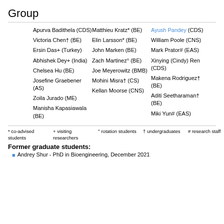Group
Apurva Badithela (CDS)
Matthieu Kratz* (BE)
Ayush Pandey (CDS)
Victoria Chen† (BE)
Elin Larsson* (BE)
John Marken (BE)
William Poole (CNS)
Ersin Das+ (Turkey)
Zach Martinez° (BE)
Mark Prator# (EAS)
Abhishek Dey+ (India)
Joe Meyerowitz (BMB)
Xinying (Cindy) Ren (CDS)
Chelsea Hu (BE)
Mohini Misra† (CS)
Makena Rodriguez† (BE)
Josefine Graebener (AS)
Kellan Moorse (CNS)
Aditi Seetharaman† (BE)
Zoila Jurado (ME)
Miki Yun# (EAS)
Manisha Kapasiawala (BE)
* co-advised students   + visiting researchers   ° rotation students   † undergraduates   # research staff
Former graduate students:
Andrey Shur - PhD in Bioengineering, December 2021